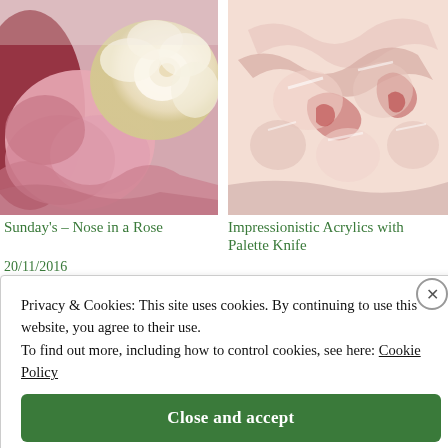[Figure (photo): Close-up photo of pink and white roses]
[Figure (photo): Impressionistic acrylic painting of pink flowers with palette knife texture]
Sunday's – Nose in a Rose
20/11/2016
Impressionistic Acrylics with Palette Knife
Privacy & Cookies: This site uses cookies. By continuing to use this website, you agree to their use. To find out more, including how to control cookies, see here: Cookie Policy
Close and accept